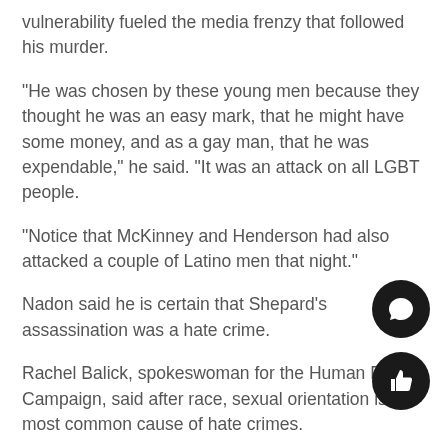vulnerability fueled the media frenzy that followed his murder.
"He was chosen by these young men because they thought he was an easy mark, that he might have some money, and as a gay man, that he was expendable," he said. "It was an attack on all LGBT people.
"Notice that McKinney and Henderson had also attacked a couple of Latino men that night."
Nadon said he is certain that Shepard’s assassination was a hate crime.
Rachel Balick, spokeswoman for the Human Rights Campaign, said after race, sexual orientation is the most common cause of hate crimes.
For some members of the LGBT community, the Stonewall riots in 1969 are a watershed in the purs…